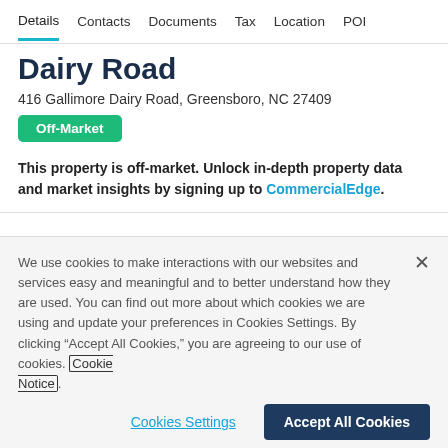Details  Contacts  Documents  Tax  Location  POI
Dairy Road
416 Gallimore Dairy Road, Greensboro, NC 27409
Off-Market
This property is off-market. Unlock in-depth property data and market insights by signing up to CommercialEdge.
We use cookies to make interactions with our websites and services easy and meaningful and to better understand how they are used. You can find out more about which cookies we are using and update your preferences in Cookies Settings. By clicking “Accept All Cookies,” you are agreeing to our use of cookies. Cookie Notice.
Cookies Settings
Accept All Cookies